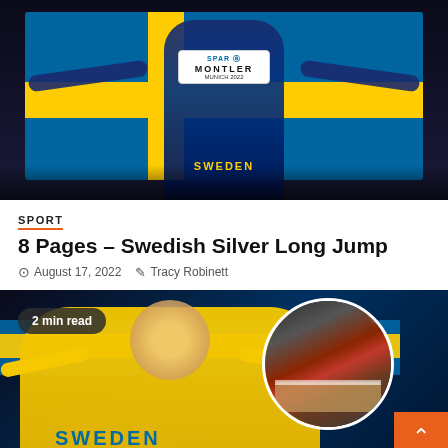[Figure (photo): Athlete wearing a yellow Sweden jersey holding up a blue and yellow Swedish flag with arms outstretched. The athlete has a race bib reading 'MONTLER, MUNICH 2022' with SPAR logo. Crowd visible in background at night stadium.]
SPORT
8 Pages – Swedish Silver Long Jump
August 17, 2022   Tracy Robinett
[Figure (photo): Composite image: Left side shows athlete in yellow Sweden shirt holding a Swedish flag, smiling with arms outstretched. Right side shows a circular inset photo of a long jump sandpit/board at an athletics stadium. Orange back-to-top arrow button in bottom-right corner. Badge overlay reads '2 min read'.]